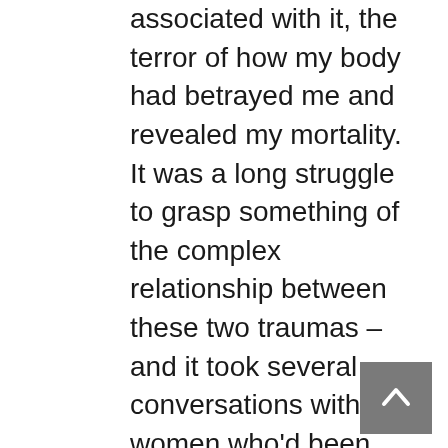associated with it, the terror of how my body had betrayed me and revealed my mortality. It was a long struggle to grasp something of the complex relationship between these two traumas – and it took several conversations with women who'd been through pregnancies to understand that. They were difficult conversations because of the lines we draw